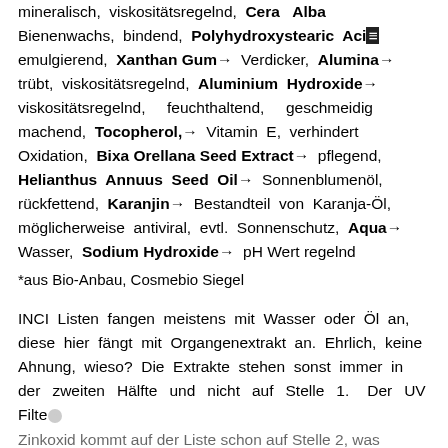mineralisch, viskositätsregelnd, Cera Alba Bienenwachs, bindend, Polyhydroxystearic Acid emulgierend, Xanthan Gum→ Verdicker, Alumina→ trübt, viskositätsregelnd, Aluminium Hydroxide→ viskositätsregelnd, feuchthaltend, geschmeidig machend, Tocopherol,→ Vitamin E, verhindert Oxidation, Bixa Orellana Seed Extract→ pflegend, Helianthus Annuus Seed Oil→ Sonnenblumenöl, rückfettend, Karanjin→ Bestandteil von Karanja-Öl, möglicherweise antiviral, evtl. Sonnenschutz, Aqua→ Wasser, Sodium Hydroxide→ pH Wert regelnd
*aus Bio-Anbau, Cosmebio Siegel
INCI Listen fangen meistens mit Wasser oder Öl an, diese hier fängt mit Organgenextrakt an. Ehrlich, keine Ahnung, wieso? Die Extrakte stehen sonst immer in der zweiten Hälfte und nicht auf Stelle 1. Der UV Filter Zinkoxid kommt auf der Liste schon auf Stelle 2, was